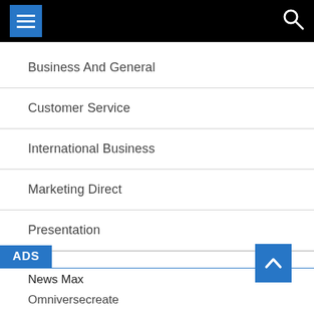Menu navigation header with hamburger menu and search icon
Business And General
Customer Service
International Business
Marketing Direct
Presentation
ADS
News Max
Omniversecreate